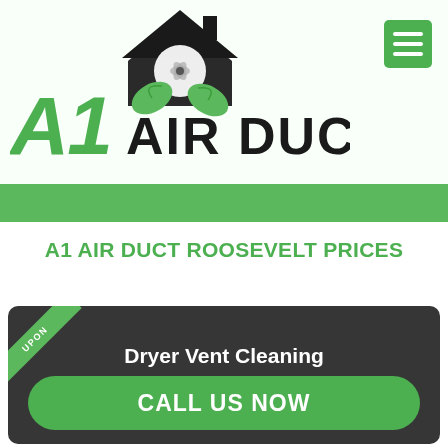[Figure (logo): A1 Air Duct company logo with green house icon containing a fan, two green leaves, and green stylized 'A1' text with bold 'AIR DUCT' text in dark gray/black]
[Figure (other): Green hamburger menu icon button (three horizontal white lines on green square background)]
[Figure (other): Green horizontal banner/divider strip]
A1 AIR DUCT ROOSEVELT PRICES
[Figure (infographic): Dark gray coupon card with green corner ribbon labeled 'COUPON', white bold text 'Dryer Vent Cleaning', and a large green rounded button reading 'CALL US NOW']